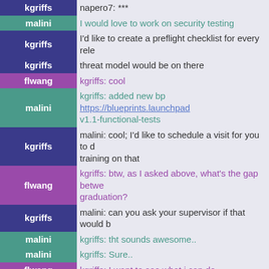| user | message |
| --- | --- |
| kgriffs | napero7: *** |
| malini | I would love to work on security testing |
| kgriffs | I'd like to create a preflight checklist for every rele |
| kgriffs | threat model would be on there |
| flwang | kgriffs: cool |
| malini | kgriffs: added new bp https://blueprints.launchpad v1.1-functional-tests |
| kgriffs | malini: cool; I'd like to schedule a visit for you to d training on that |
| flwang | kgriffs: btw, as I asked above, what's the gap betwe graduation? |
| kgriffs | malini: can you ask your supervisor if that would b |
| malini | kgriffs: tht sounds awesome.. |
| malini | kgriffs: Sure.. |
| flwang | kgriffs: I want to see what i can do |
| kgriffs | malini: kk, follow up with me when you know |
| malini | kgriffs: sure |
| *** tedross has quit IRC |  |
| kgriffs | flwang: we need to get the doc patches merged, so reviews on those |
| kgriffs | (there are two) |
| kgriffs | (two patches) |